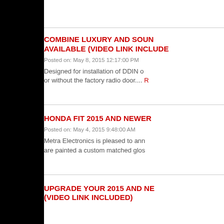COMBINE LUXURY AND SOUND AVAILABLE (video link included)
Posted on: May 8, 2015 12:17:00 PM
Designed for installation of DDIN or without the factory radio door.... R
HONDA FIT 2015 AND NEWER
Posted on: May 4, 2015 9:48:00 AM
Metra Electronics is pleased to announce are painted a custom matched glos
UPGRADE YOUR 2015 AND NEWER (video link included)